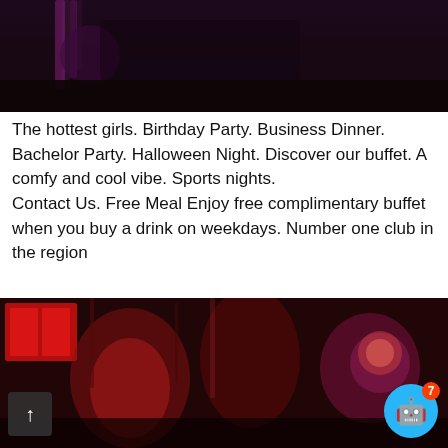[Figure (photo): Dark nightclub bar scene with purple/violet lighting, bar stools visible in background, very dark ambiance]
The hottest girls. Birthday Party. Business Dinner. Bachelor Party. Halloween Night. Discover our buffet. A comfy and cool vibe. Sports nights.
Contact Us. Free Meal Enjoy free complimentary buffet when you buy a drink on weekdays. Number one club in the region
[Figure (photo): Two women at a nightclub with red neon lighting, one holding a glowing cocktail drink, dark moody atmosphere with red LED signs in background]